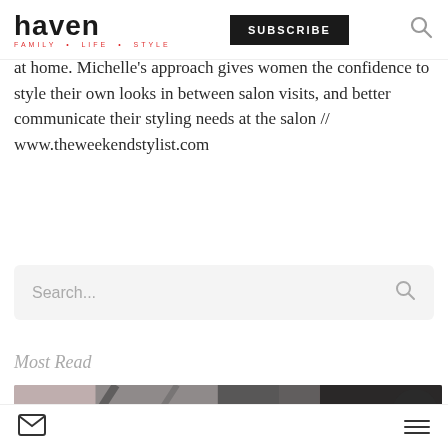haven FAMILY + LIFE + STYLE | SUBSCRIBE
at home. Michelle's approach gives women the confidence to style their own looks in between salon visits, and better communicate their styling needs at the salon // www.theweekendstylist.com
[Figure (screenshot): Search input box with placeholder text 'Search...' and a search icon on the right, on a light grey background]
Most Read
[Figure (photo): Partial photo of a person with dark clothing, greyscale tones, with a dark circular overlay button on the right side]
Mail icon | Hamburger menu icon